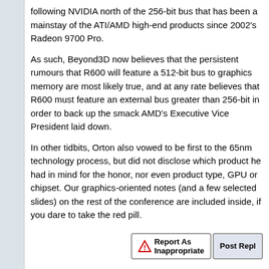following NVIDIA north of the 256-bit bus that has been a mainstay of the ATI/AMD high-end products since 2002's Radeon 9700 Pro.
As such, Beyond3D now believes that the persistent rumours that R600 will feature a 512-bit bus to graphics memory are most likely true, and at any rate believes that R600 must feature an external bus greater than 256-bit in order to back up the smack AMD's Executive Vice President laid down.
In other tidbits, Orton also vowed to be first to the 65nm technology process, but did not disclose which product he had in mind for the honor, nor even product type, GPU or chipset. Our graphics-oriented notes (and a few selected slides) on the rest of the conference are included inside, if you dare to take the red pill.
Report As Inappropriate | Post Reply
December 15th 06, 04:20 PM posted to alt.comp.periphs.videocards.ati,alt.comp.periphs.videocards.nvidia,alt.comp.hardware.a 64,comp.sys.ibm.pc.hardware.video,comp.sys.ibm.pc.games.action
Tony DiMarzio
external usenet poster
Pos